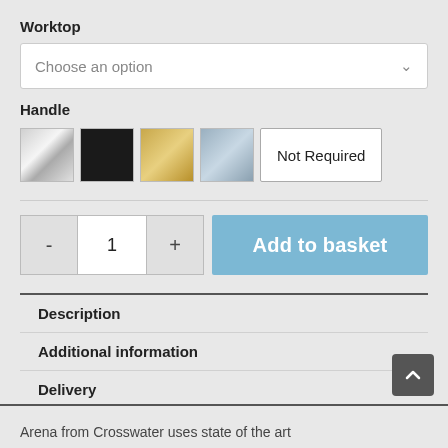Worktop
Choose an option
Handle
[Figure (illustration): Four color swatches (silver, black, gold, grey) and a 'Not Required' button for handle selection]
- 1 +
Add to basket
Description
Additional information
Delivery
Arena from Crosswater uses state of the art